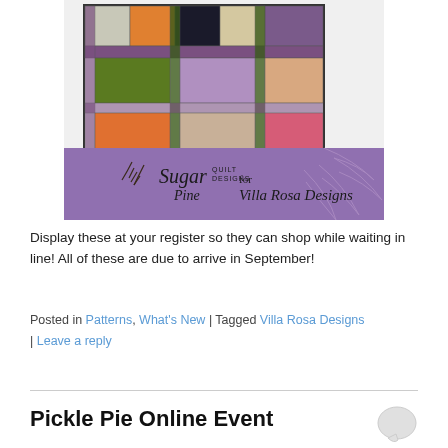[Figure (illustration): A quilt pattern image showing a colorful patchwork quilt with orange, purple, green, black and cream fabric squares arranged in a grid pattern. Below the quilt image is a purple banner with the text 'Sugar Pine Quilt Designs for Villa Rosa Designs' with a pine branch illustration.]
Display these at your register so they can shop while waiting in line! All of these are due to arrive in September!
Posted in Patterns, What's New | Tagged Villa Rosa Designs | Leave a reply
Pickle Pie Online Event